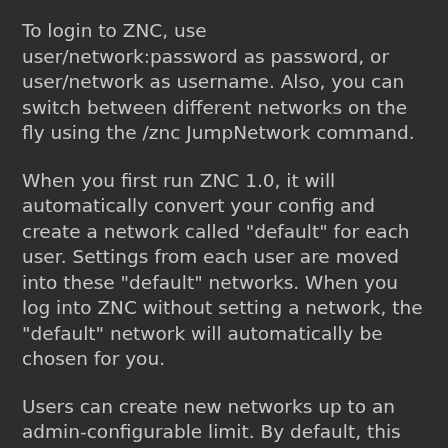To login to ZNC, use user/network:password as password, or user/network as username. Also, you can switch between different networks on the fly using the /znc JumpNetwork command.
When you first run ZNC 1.0, it will automatically convert your config and create a network called "default" for each user. Settings from each user are moved into these "default" networks. When you log into ZNC without setting a network, the "default" network will automatically be chosen for you.
Users can create new networks up to an admin-configurable limit. By default, this limit is one network per user.
Existing user-per-network setups can be